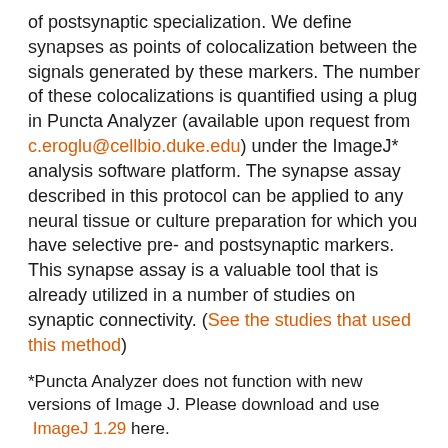of postsynaptic specialization. We define synapses as points of colocalization between the signals generated by these markers. The number of these colocalizations is quantified using a plug in Puncta Analyzer (available upon request from c.eroglu@cellbio.duke.edu) under the ImageJ* analysis software platform. The synapse assay described in this protocol can be applied to any neural tissue or culture preparation for which you have selective pre- and postsynaptic markers. This synapse assay is a valuable tool that is already utilized in a number of studies on synaptic connectivity. (See the studies that used this method)
*Puncta Analyzer does not function with new versions of Image J. Please download and use ImageJ 1.29 here.
Rapid Golgi analysis method for efficient and unbiased classification of dendritic spines. Risher W.C., Ustunkaya T., Singh J.A., and Eroglu C. (2014) PLoS ONE, Sep 10:9(9):e107591.